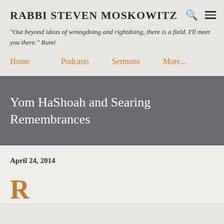RABBI STEVEN MOSKOWITZ
"Out beyond ideas of wrongdoing and rightdoing, there is a field. I'll meet you there." Rumi
Home
Podcasts
Sermons
More...
Yom HaShoah and Searing Remembrances
April 24, 2014